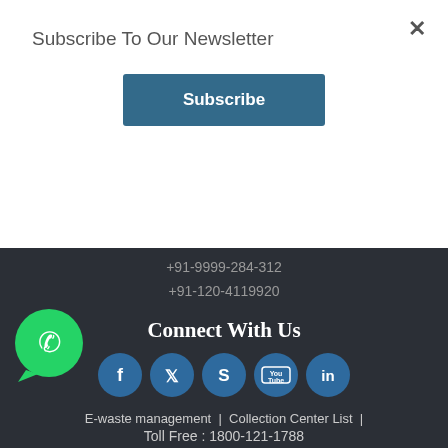Subscribe To Our Newsletter
Subscribe
+91-9999-284-312
+91-120-4119920
Connect With Us
[Figure (infographic): Row of social media icons: Facebook, Twitter, Skype, YouTube, LinkedIn — dark teal circles with white icons. WhatsApp icon on the left.]
E-waste management  |  Collection Center List  |
Toll Free : 1800-121-1788
We're offline
Leave a message
Call
GetButton